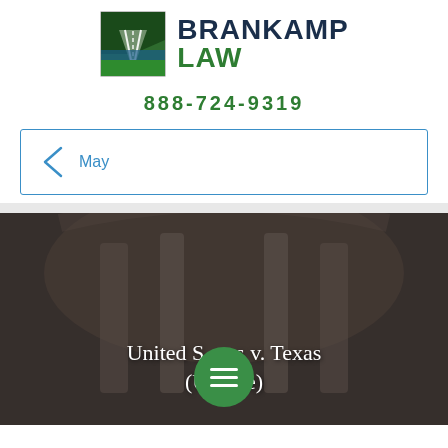[Figure (logo): Brankamp Law firm logo with green diamond shape road illustration and firm name in dark navy and green]
888-724-9319
May
[Figure (photo): Blurred courthouse interior photo with overlaid text 'United States v. Texas (Update)' and a green circular menu button overlay]